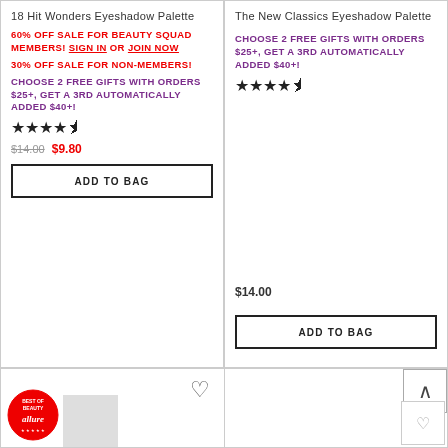18 Hit Wonders Eyeshadow Palette
60% OFF SALE FOR BEAUTY SQUAD MEMBERS! SIGN IN OR JOIN NOW
30% OFF SALE FOR NON-MEMBERS!
CHOOSE 2 FREE GIFTS WITH ORDERS $25+, GET A 3RD AUTOMATICALLY ADDED $40+!
★★★★½
$14.00  $9.80
ADD TO BAG
The New Classics Eyeshadow Palette
CHOOSE 2 FREE GIFTS WITH ORDERS $25+, GET A 3RD AUTOMATICALLY ADDED $40+!
★★★★½
$14.00
ADD TO BAG